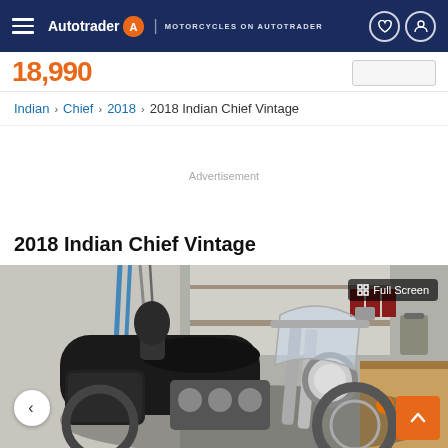Autotrader | MOTORCYCLES ON AUTOTRADER
18,990
Indian › Chief › 2018 › 2018 Indian Chief Vintage
Advertisement
2018 Indian Chief Vintage
[Figure (photo): 2018 Indian Chief Vintage motorcycle parked in a garage/workshop setting, showing chrome details, windshield, and saddlebags. A 'Full Screen' button overlay is visible in the top right corner.]